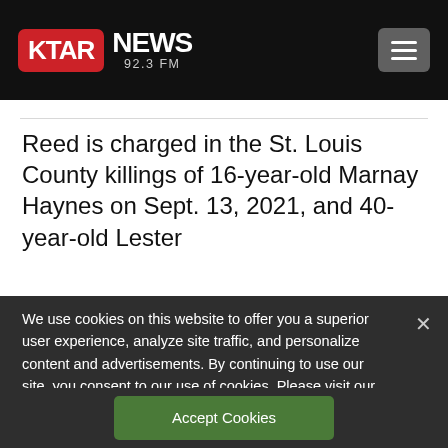[Figure (logo): KTAR News 92.3 FM logo with red badge and hamburger menu button on black header]
Reed is charged in the St. Louis County killings of 16-year-old Marnay Haynes on Sept. 13, 2021, and 40-year-old Lester
We use cookies on this website to offer you a superior user experience, analyze site traffic, and personalize content and advertisements. By continuing to use our site, you consent to our use of cookies. Please visit our Privacy Policy for more information.
Accept Cookies